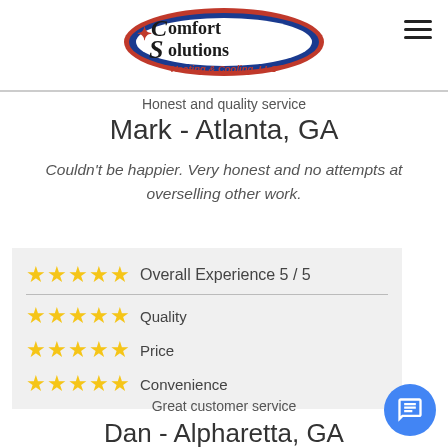[Figure (logo): Comfort Solutions Heating & Cooling, LLC logo with star and stylized S]
Honest and quality service
Mark - Atlanta, GA
Couldn't be happier. Very honest and no attempts at overselling other work.
| Stars | Category | Score |
| --- | --- | --- |
| ★★★★★ | Overall Experience | 5 / 5 |
| ★★★★★ | Quality |  |
| ★★★★★ | Price |  |
| ★★★★★ | Convenience |  |
Great customer service
Dan - Alpharetta, GA